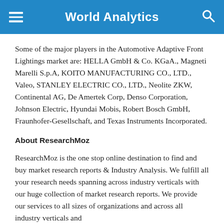World Analytics
Some of the major players in the Automotive Adaptive Front Lightings market are: HELLA GmbH & Co. KGaA., Magneti Marelli S.p.A, KOITO MANUFACTURING CO., LTD., Valeo, STANLEY ELECTRIC CO., LTD., Neolite ZKW, Continental AG, De Amertek Corp, Denso Corporation, Johnson Electric, Hyundai Mobis, Robert Bosch GmbH, Fraunhofer-Gesellschaft, and Texas Instruments Incorporated.
About ResearchMoz
ResearchMoz is the one stop online destination to find and buy market research reports & Industry Analysis. We fulfill all your research needs spanning across industry verticals with our huge collection of market research reports. We provide our services to all sizes of organizations and across all industry verticals and